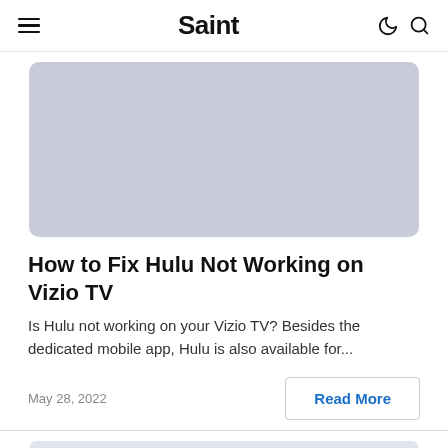Saint
[Figure (photo): Gray placeholder image for article thumbnail, rounded corners]
How to Fix Hulu Not Working on Vizio TV
Is Hulu not working on your Vizio TV? Besides the dedicated mobile app, Hulu is also available for...
May 28, 2022
Read More
[Figure (photo): Gray placeholder image for next article thumbnail, rounded corners, partially visible]